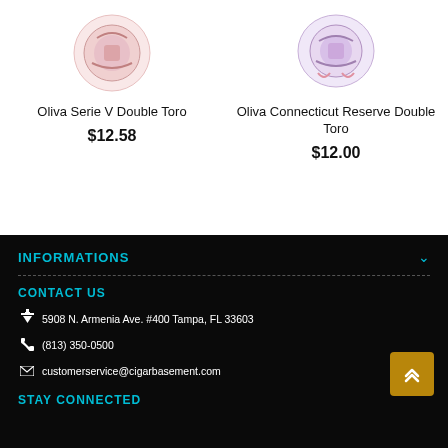Oliva Serie V Double Toro
$12.58
Oliva Connecticut Reserve Double Toro
$12.00
INFORMATIONS
CONTACT US
5908 N. Armenia Ave. #400 Tampa, FL 33603
(813) 350-0500
customerservice@cigarbasement.com
STAY CONNECTED